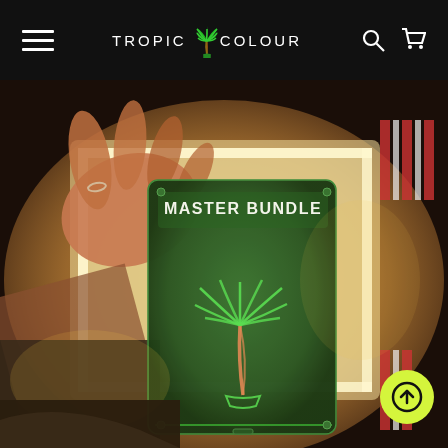TROPIC COLOUR — navigation bar with hamburger menu, logo, search and cart icons
[Figure (photo): A hand holding a dark green card/product package labeled 'MASTER BUNDLE' with a neon-style palm tree illustration, placed inside a glowing light box with warm yellow lighting. The scene has a cinematic, film-photography aesthetic.]